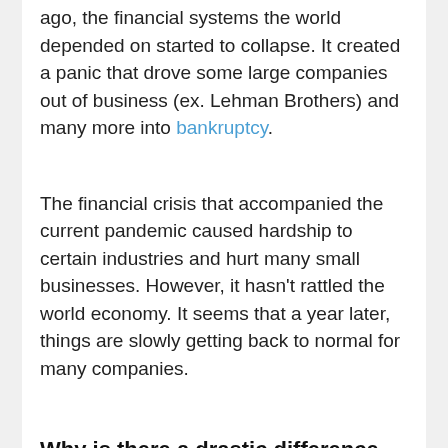ago, the financial systems the world depended on started to collapse. It created a panic that drove some large companies out of business (ex. Lehman Brothers) and many more into bankruptcy.
The financial crisis that accompanied the current pandemic caused hardship to certain industries and hurt many small businesses. However, it hasn't rattled the world economy. It seems that a year later, things are slowly getting back to normal for many companies.
Why is there a drastic difference between 2008 and now?